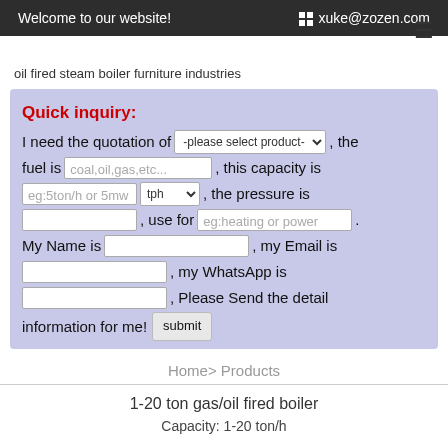Welcome to our website!  xuke@zozen.com
oil fired steam boiler furniture industries
Quick inquiry: I need the quotation of -please select product-, the fuel is coal,oil,gas,etc..., this capacity is eg:5ton/h or 5mw tph, the pressure is , use for eg:heating or power plant. My Name is , my Email is , my WhatsApp is , Please Send the detail information for me! submit
Home> Products
1-20 ton gas/oil fired boiler
Capacity: 1-20 ton/h